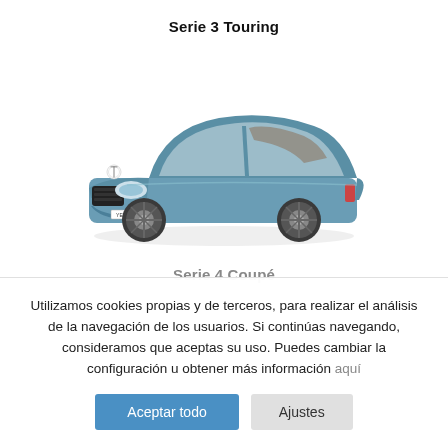Serie 3 Touring
[Figure (photo): BMW 4 Series Coupé in steel blue color, three-quarter front view, shown on white background]
Serie 4 Coupé
Utilizamos cookies propias y de terceros, para realizar el análisis de la navegación de los usuarios. Si continúas navegando, consideramos que aceptas su uso. Puedes cambiar la configuración u obtener más información aquí
Aceptar todo
Ajustes